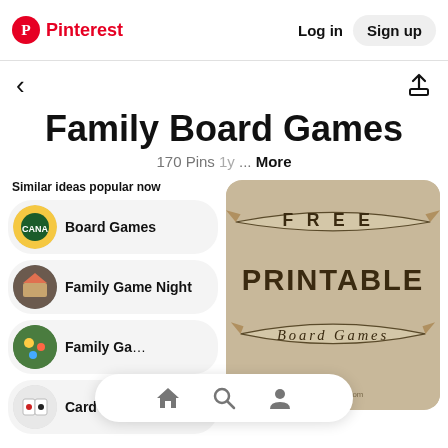Pinterest  Log in  Sign up
< [back arrow]  [share icon]
Family Board Games
170 Pins 1y ... More
Similar ideas popular now
Board Games
Family Game Night
Family Ga…
Card Games
[Figure (illustration): Free Printable Board Games banner illustration on tan/kraft background with ribbon banners. Text reads FREE PRINTABLE Board Games. Gameschool.com watermark at bottom.]